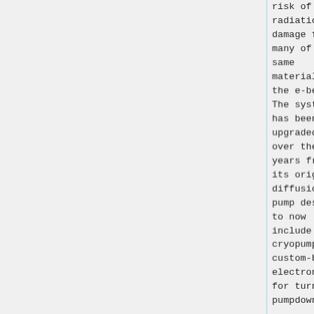risk of radiation damage for many of the same materials as the e-beam. The system has been upgraded over the years from its original diffusion pump design to now include a cryopump and custom-built electronics for turn-key pumpdown and
risk of radiation damage for many of the same materials as the e-beam. The system has been upgraded over the years from its original diffusion pump design to now include a cryopump and custom-built electronics for turn-key pumpdown and